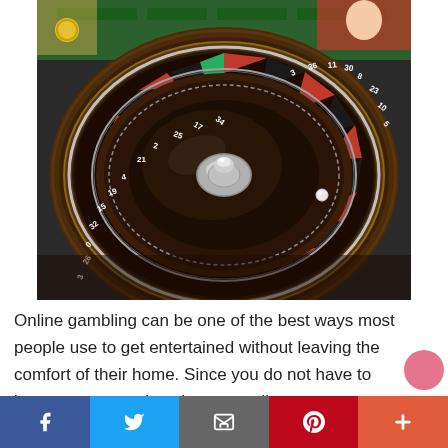[Figure (photo): Close-up photograph of a casino roulette wheel with red and black numbered segments, chrome center spinner, and a green felt table visible in the background with casino staff and chips.]
Online gambling can be one of the best ways most people use to get entertained without leaving the comfort of their home. Since you do not have to bear any commuting charges, online
Facebook | Twitter | Email | Pinterest | More